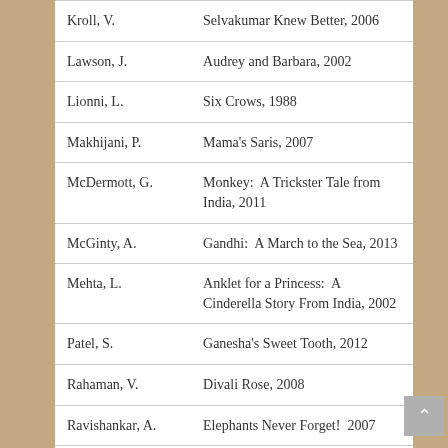| Author | Title, Year |
| --- | --- |
| Kroll, V. | Selvakumar Knew Better, 2006 |
| Lawson, J. | Audrey and Barbara, 2002 |
| Lionni, L. | Six Crows, 1988 |
| Makhijani, P. | Mama's Saris, 2007 |
| McDermott, G. | Monkey:  A Trickster Tale from India, 2011 |
| McGinty, A. | Gandhi:  A March to the Sea, 2013 |
| Mehta, L. | Anklet for a Princess:  A Cinderella Story From India, 2002 |
| Patel, S. | Ganesha's Sweet Tooth, 2012 |
| Rahaman, V. | Divali Rose, 2008 |
| Ravishankar, A. | Elephants Never Forget!  2007 |
| Ravishankar, A. | To Market!  To Market!  2008 |